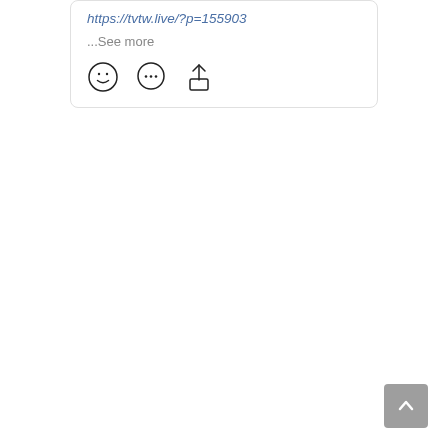https://tvtw.live/?p=155903
...See more
[Figure (screenshot): Three icon buttons: smiley face (reaction), speech bubble with ellipsis (comment), share/upload arrow icon]
[Figure (screenshot): Gray scroll-to-top button with upward chevron arrow, positioned bottom right]